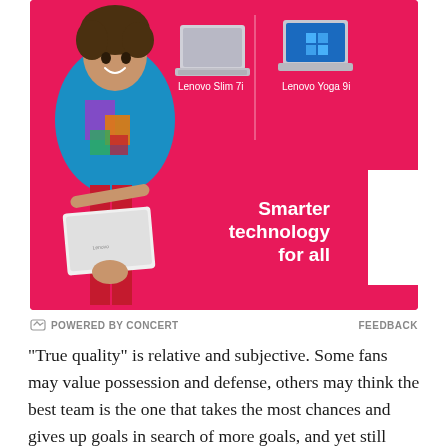[Figure (photo): Lenovo advertisement on a hot pink/magenta background. A smiling person in colorful clothing holds a white laptop. Two laptop products are shown: Lenovo Slim 7i and Lenovo Yoga 9i. Text reads 'Smarter technology for all' with the Lenovo logo on a white vertical badge on the right.]
POWERED BY CONCERT   FEEDBACK
"True quality" is relative and subjective. Some fans may value possession and defense, others may think the best team is the one that takes the most chances and gives up goals in search of more goals, and yet still there are those the prefer the tried and true over innovation. Some fans may think that strong corporate